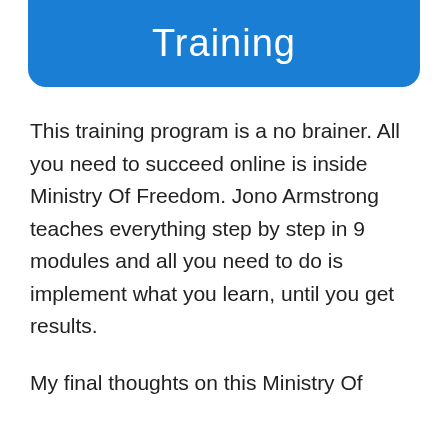Training
This training program is a no brainer. All you need to succeed online is inside Ministry Of Freedom. Jono Armstrong teaches everything step by step in 9 modules and all you need to do is implement what you learn, until you get results.
My final thoughts on this Ministry Of